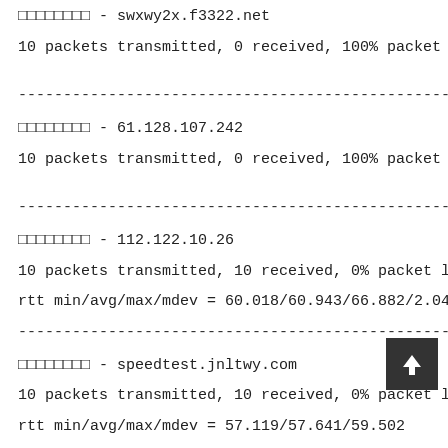□□□□□□□□ - swxwy2x.f3322.net
10 packets transmitted, 0 received, 100% packet
------------------------------------------------------------------------
□□□□□□□□ - 61.128.107.242
10 packets transmitted, 0 received, 100% packet
------------------------------------------------------------------------
□□□□□□□□ - 112.122.10.26
10 packets transmitted, 10 received, 0% packet l
rtt min/avg/max/mdev = 60.018/60.943/66.882/2.04
------------------------------------------------------------------------
□□□□□□□□ - speedtest.jnltwy.com
10 packets transmitted, 10 received, 0% packet l
rtt min/avg/max/mdev = 57.119/57.641/59.502
------------------------------------------------------------------------
□□□□□□□□ - 112.57.240.2